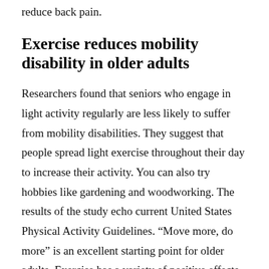reduce back pain.
Exercise reduces mobility disability in older adults
Researchers found that seniors who engage in light activity regularly are less likely to suffer from mobility disabilities. They suggest that people spread light exercise throughout their day to increase their activity. You can also try hobbies like gardening and woodworking. The results of the study echo current United States Physical Activity Guidelines. “Move more, do more” is an excellent starting point for older adults. Exercise has a variety of positive effects on health.